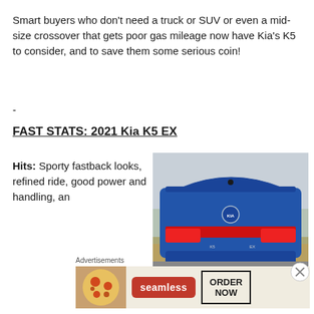Smart buyers who don't need a truck or SUV or even a mid-size crossover that gets poor gas mileage now have Kia's K5 to consider, and to save them some serious coin!
-
FAST STATS: 2021 Kia K5 EX
Hits: Sporty fastback looks, refined ride, good power and handling, an
[Figure (photo): Rear view of a blue 2021 Kia K5 EX sedan parked outdoors with bare trees in the background]
Advertisements
[Figure (other): Seamless food delivery advertisement banner with pizza image, Seamless logo button, and ORDER NOW button]